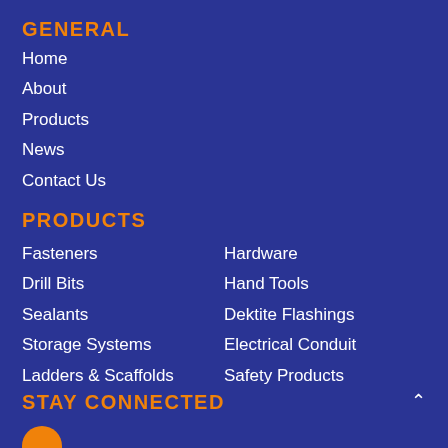GENERAL
Home
About
Products
News
Contact Us
PRODUCTS
Fasteners
Hardware
Drill Bits
Hand Tools
Sealants
Dektite Flashings
Storage Systems
Electrical Conduit
Ladders & Scaffolds
Safety Products
STAY CONNECTED